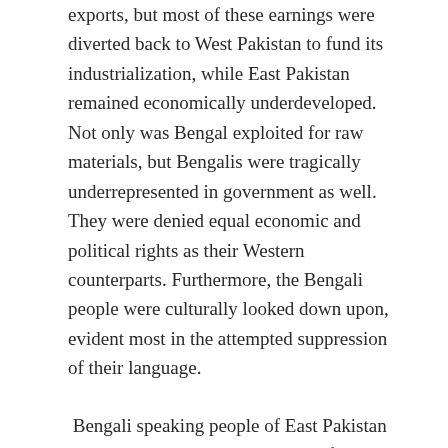exports, but most of these earnings were diverted back to West Pakistan to fund its industrialization, while East Pakistan remained economically underdeveloped. Not only was Bengal exploited for raw materials, but Bengalis were tragically underrepresented in government as well. They were denied equal economic and political rights as their Western counterparts. Furthermore, the Bengali people were culturally looked down upon, evident most in the attempted suppression of their language.
Bengali speaking people of East Pakistan made up the majority 44 million of Pakistan's total 69 million people. However, the official government, civil services, and military were all centralized within West Pakistan, and dominated by Urdu